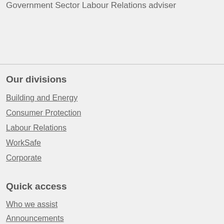Government Sector Labour Relations adviser
Our divisions
Building and Energy
Consumer Protection
Labour Relations
WorkSafe
Corporate
Quick access
Who we assist
Announcements